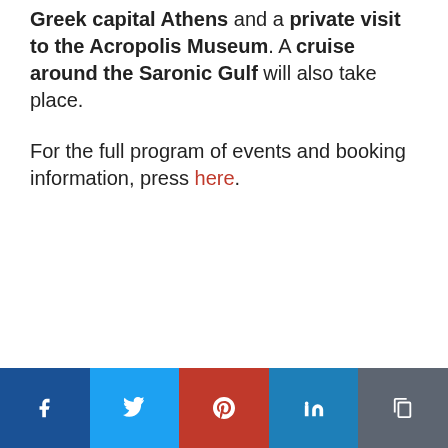Greek capital Athens and a private visit to the Acropolis Museum. A cruise around the Saronic Gulf will also take place.
For the full program of events and booking information, press here.
Social share bar: Facebook, Twitter, Pinterest, LinkedIn, Copy